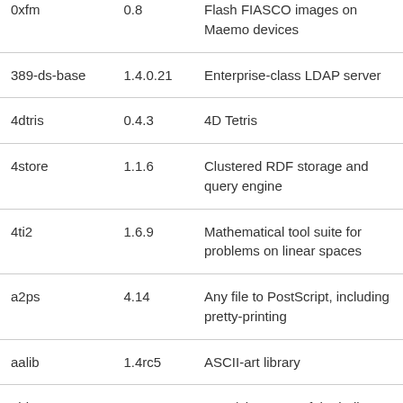| 0xfm | 0.8 | Flash FIASCO images on Maemo devices |
| 389-ds-base | 1.4.0.21 | Enterprise-class LDAP server |
| 4dtris | 0.4.3 | 4D Tetris |
| 4store | 1.1.6 | Clustered RDF storage and query engine |
| 4ti2 | 1.6.9 | Mathematical tool suite for problems on linear spaces |
| a2ps | 4.14 | Any file to PostScript, including pretty-printing |
| aalib | 1.4rc5 | ASCII-art library |
| abbaye | 2.0.1 | GNU/Linux port of the indie game |